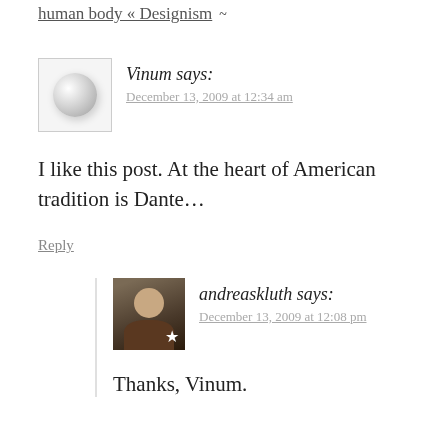human body « Designism  ~
Vinum says:
December 13, 2009 at 12:34 am
I like this post. At the heart of American tradition is Dante…
Reply
andreaskluth says:
December 13, 2009 at 12:08 pm
Thanks, Vinum.